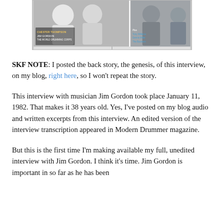[Figure (photo): Magazine cover or spread showing Chester Thompson, Jim Gordon, and The World Drumming Corps; plus Tony Williams, Dennis Miller, and The Boomers – black and white photo of musicians]
SKF NOTE: I posted the back story, the genesis, of this interview, on my blog, right here, so I won't repeat the story.
This interview with musician Jim Gordon took place January 11, 1982. That makes it 38 years old. Yes, I've posted on my blog audio and written excerpts from this interview. An edited version of the interview transcription appeared in Modern Drummer magazine.
But this is the first time I'm making available my full, unedited interview with Jim Gordon. I think it's time. Jim Gordon is important in so far as he has been...